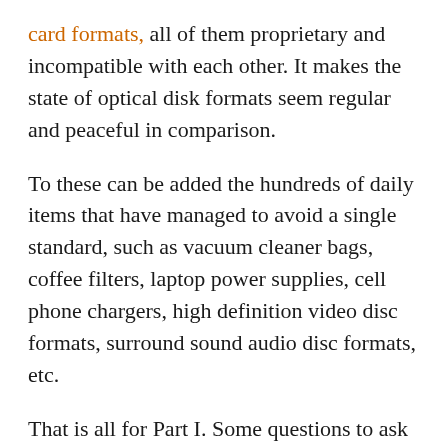card formats, all of them proprietary and incompatible with each other. It makes the state of optical disk formats seem regular and peaceful in comparison.
To these can be added the hundreds of daily items that have managed to avoid a single standard, such as vacuum cleaner bags, coffee filters, laptop power supplies, cell phone chargers, high definition video disc formats, surround sound audio disc formats, etc.
That is all for Part I. Some questions to ask yourself:
1. In the examples given of domains where